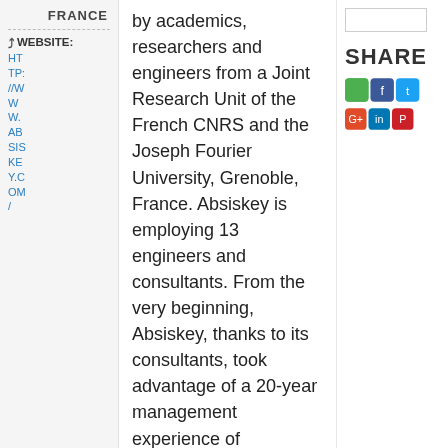FRANCE
WEBSITE: HTTP://WWW.ABSISKEY.COM/
by academics, researchers and engineers from a Joint Research Unit of the French CNRS and the Joseph Fourier University, Grenoble, France. Absiskey is employing 13 engineers and consultants. From the very beginning, Absiskey, thanks to its consultants, took advantage of a 20-year management experience of European fundings in very different programs and for R&D projects, accompanying measures, concerted actions, training courses as well as sustained
SHARE